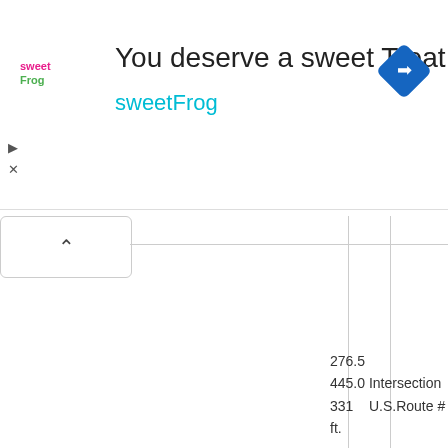[Figure (screenshot): Advertisement banner for sweetFrog frozen yogurt. Shows sweetFrog logo on left, text 'You deserve a sweet Treat' in large font, 'sweetFrog' in cyan below, and a blue diamond navigation turn icon on the right. Play and close (X) icons on far left.]
[Figure (screenshot): UI panel showing an upward caret/chevron button, indicating a collapsible panel. Below are vertical divider lines and partial table data showing: 276.5, 445.0 Intersection, 331 U.S.Route #, ft.]